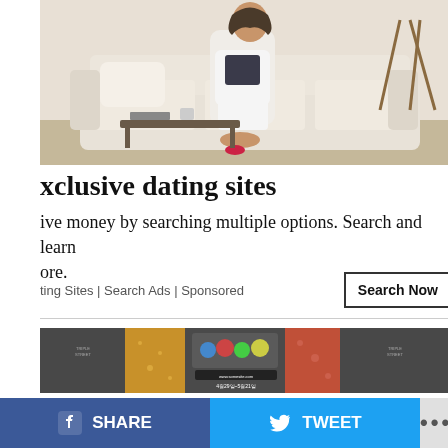[Figure (photo): Woman in white outfit sitting on a cream sofa in a modern living room, advertisement image]
xclusive dating sites
ive money by searching multiple options. Search and learn ore.
ting Sites | Search Ads | Sponsored
Search Now
[Figure (photo): Korean advertisement banner with dark grey background showing decorative strips in gold, center with cartoon characters and Korean text, and red/orange strip]
SHARE
TWEET
...